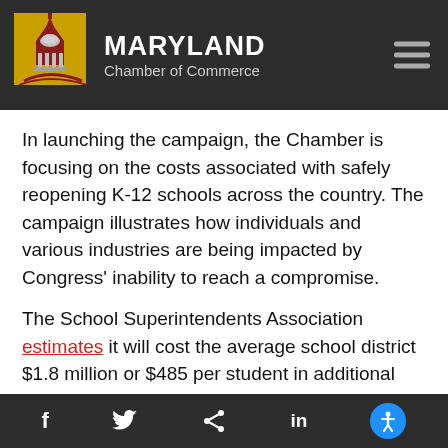MARYLAND Chamber of Commerce
In launching the campaign, the Chamber is focusing on the costs associated with safely reopening K-12 schools across the country. The campaign illustrates how individuals and various industries are being impacted by Congress' inability to reach a compromise.
The School Superintendents Association estimates it will cost the average school district $1.8 million or $485 per student in additional costs for disinfectants, personal
f  Twitter  Share  in  Accessibility